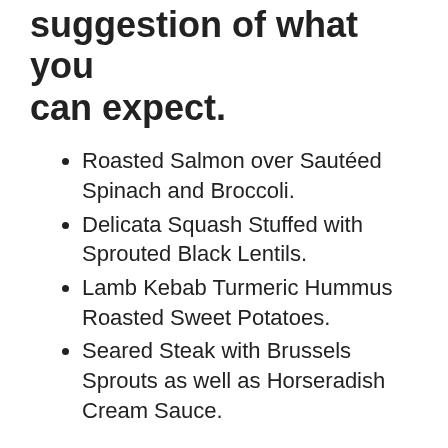suggestion of what you can expect.
Roasted Salmon over Sautéed Spinach and Broccoli.
Delicata Squash Stuffed with Sprouted Black Lentils.
Lamb Kebab Turmeric Hummus Roasted Sweet Potatoes.
Seared Steak with Brussels Sprouts as well as Horseradish Cream Sauce.
As you can see, these are some pretty splendid, yet well balanced, dishes. They do not quit there. You can also add appetisers, snacks, morning meal, pantry items, as well as even drinks to your box. This basically covers all your food requires for the week,